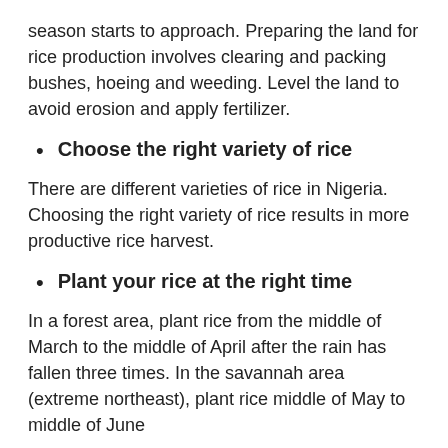season starts to approach. Preparing the land for rice production involves clearing and packing bushes, hoeing and weeding. Level the land to avoid erosion and apply fertilizer.
Choose the right variety of rice
There are different varieties of rice in Nigeria. Choosing the right variety of rice results in more productive rice harvest.
Plant your rice at the right time
In a forest area, plant rice from the middle of March to the middle of April after the rain has fallen three times. In the savannah area (extreme northeast), plant rice middle of May to middle of June
Use an appropriate method of